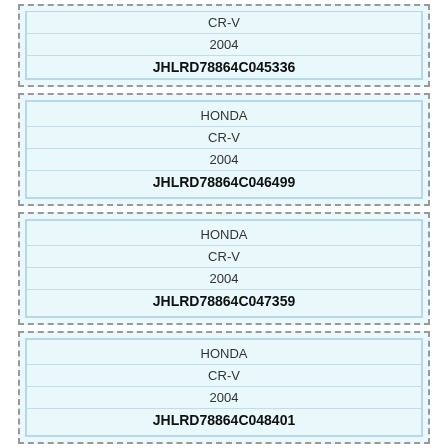| Make | Model | Year | VIN |
| --- | --- | --- | --- |
| HONDA | CR-V | 2004 | JHLRD78864C045336 |
| HONDA | CR-V | 2004 | JHLRD78864C046499 |
| HONDA | CR-V | 2004 | JHLRD78864C047359 |
| HONDA | CR-V | 2004 | JHLRD78864C048401 |